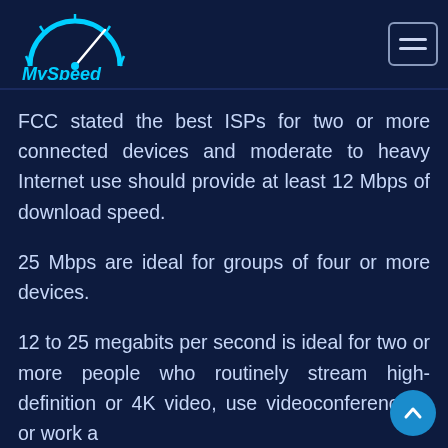[Figure (logo): MySpeed logo with cyan speedometer graphic and text]
FCC stated the best ISPs for two or more connected devices and moderate to heavy Internet use should provide at least 12 Mbps of download speed.
25 Mbps are ideal for groups of four or more devices.
12 to 25 megabits per second is ideal for two or more people who routinely stream high-definition or 4K video, use videoconferencing, or work a